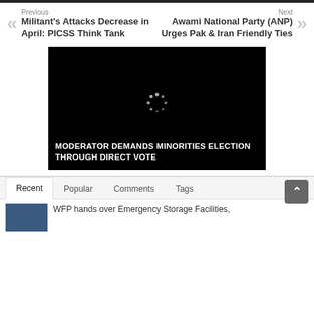Previous
Militant’s Attacks Decrease in April: PICSS Think Tank
Next
Awami National Party (ANP) Urges Pak & Iran Friendly Ties
[Figure (screenshot): Video player with black background, loading spinner in center, and white bold caption text reading MODERATOR DEMANDS MINORITIES ELECTION THROUGH DIRECT VOTE]
Recent	Popular	Comments	Tags
WFP hands over Emergency Storage Facilities,